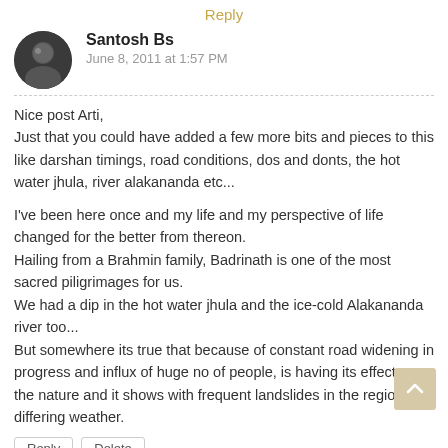Reply
Santosh Bs
June 8, 2011 at 1:57 PM
Nice post Arti,
Just that you could have added a few more bits and pieces to this like darshan timings, road conditions, dos and donts, the hot water jhula, river alakananda etc...

I've been here once and my life and my perspective of life changed for the better from thereon.
Hailing from a Brahmin family, Badrinath is one of the most sacred piligrimages for us.
We had a dip in the hot water jhula and the ice-cold Alakananda river too...
But somewhere its true that because of constant road widening in progress and influx of huge no of people, is having its effect on the nature and it shows with frequent landslides in the region and differing weather.
Reply   Delete
▼ Replies
Reply
magda